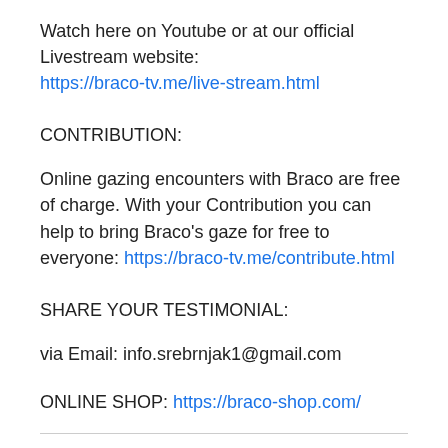Watch here on Youtube or at our official Livestream website: https://braco-tv.me/live-stream.html
CONTRIBUTION:
Online gazing encounters with Braco are free of charge. With your Contribution you can help to bring Braco's gaze for free to everyone: https://braco-tv.me/contribute.html
SHARE YOUR TESTIMONIAL:
via Email: info.srebrnjak1@gmail.com
ONLINE SHOP: https://braco-shop.com/